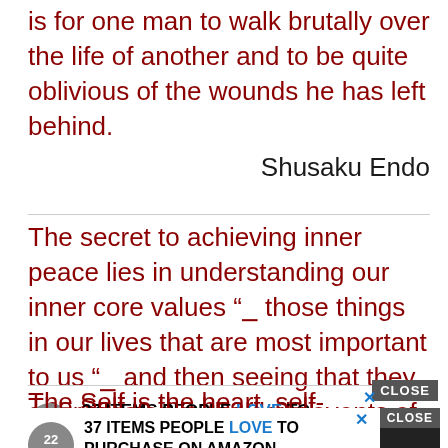is for one man to walk brutally over the life of another and to be quite oblivious of the wounds he has left behind.
Shusaku Endo
The secret to achieving inner peace lies in understanding our inner core values "― those things in our lives that are most important to us "― and then seeing that they are reflected in the daily events of our lives.
Hyrum W. Smith
The Self is the heart, self-luminous, Illumin... ches the brain, which is the seat of the mind. The world is seen with the mind; so you see the